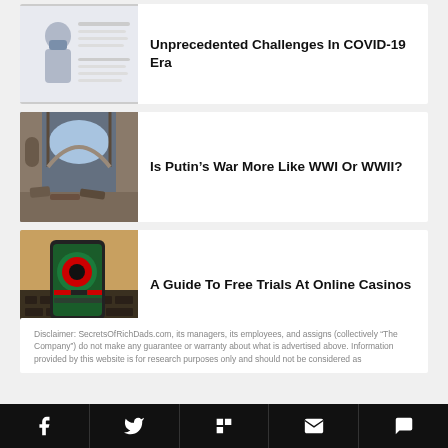Unprecedented Challenges In COVID-19 Era
[Figure (infographic): COVID-19 infographic thumbnail with masked person and CDC text]
Is Putin’s War More Like WWI Or WWII?
[Figure (photo): Photo of a destroyed or war-damaged ornate building interior courtyard]
A Guide To Free Trials At Online Casinos
[Figure (photo): Photo of a mobile phone on laptop keyboard showing an online roulette casino game]
Disclaimer: SecretsOfRichDads.com, its managers, its employees, and assigns (collectively “The Company”) do not make any guarantee or warranty about what is advertised above. Information provided by this website is for research purposes only and should not be considered as
Social share bar with Facebook, Twitter, Flipboard, Email, Comment icons